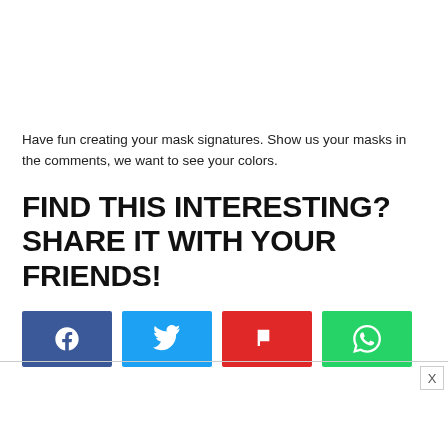Have fun creating your mask signatures. Show us your masks in the comments, we want to see your colors.
FIND THIS INTERESTING? SHARE IT WITH YOUR FRIENDS!
[Figure (infographic): Four social media share buttons: Facebook (blue), Twitter (cyan), Flipboard (red), WhatsApp (green), each with the platform icon in white.]